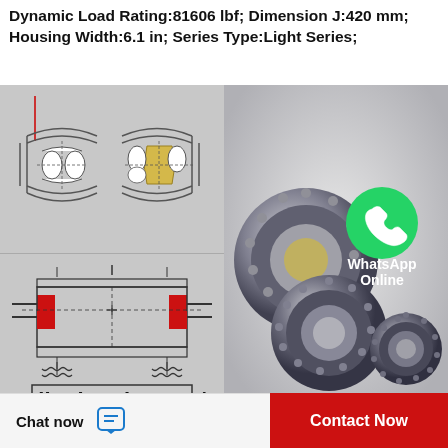Dynamic Load Rating:81606 lbf; Dimension J:420 mm; Housing Width:6.1 in; Series Type:Light Series;
[Figure (engineering-diagram): Top: Cross-section schematic of a spherical roller bearing showing two variants side by side. Bottom: Technical installation diagram of a bearing housing unit with red mounting blocks and spring elements below.]
[Figure (photo): Photo of multiple spherical roller bearings of different sizes on a grey background, with a WhatsApp green icon overlay and text 'WhatsApp Online']
Roller bearing 222/900 K MB C4...
Chat now
Contact Now